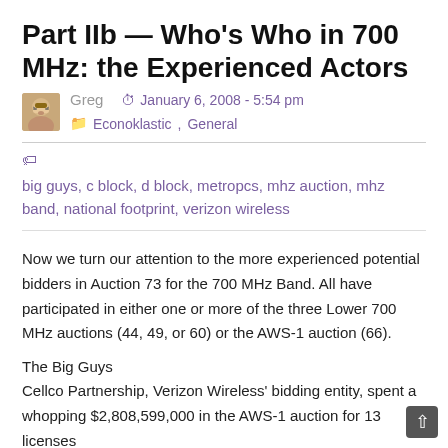Part IIb — Who's Who in 700 MHz: the Experienced Actors
Greg   January 6, 2008 - 5:54 pm   Econoklastic, General
big guys, c block, d block, metropcs, mhz auction, mhz band, national footprint, verizon wireless
Now we turn our attention to the more experienced potential bidders in Auction 73 for the 700 MHz Band. All have participated in either one or more of the three Lower 700 MHz auctions (44, 49, or 60) or the AWS-1 auction (66).
The Big Guys
Cellco Partnership, Verizon Wireless' bidding entity, spent a whopping $2,808,599,000 in the AWS-1 auction for 13 licenses